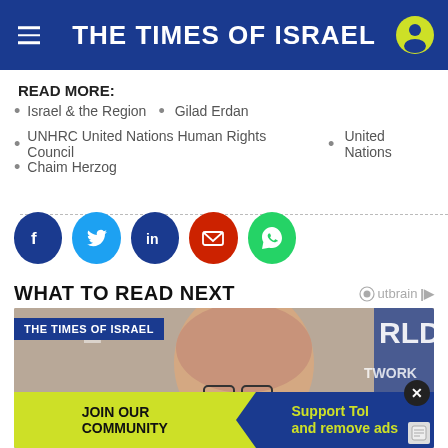THE TIMES OF ISRAEL
READ MORE:
Israel & the Region
Gilad Erdan
UNHRC United Nations Human Rights Council
United Nations
Chaim Herzog
[Figure (infographic): Social sharing buttons: Facebook, Twitter, LinkedIn, Email, WhatsApp]
WHAT TO READ NEXT
[Figure (photo): Photo of an elderly man with glasses, with The Times of Israel and World Network branding visible. A JOIN OUR COMMUNITY / Support ToI and remove ads banner is overlaid at the bottom.]